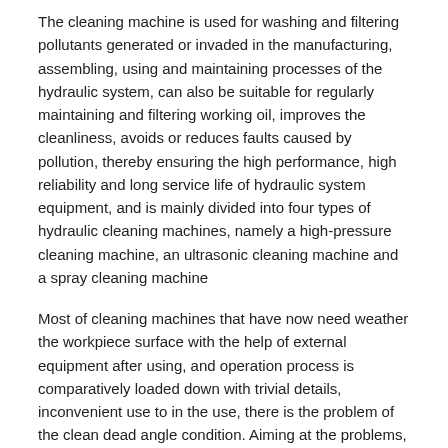The cleaning machine is used for washing and filtering pollutants generated or invaded in the manufacturing, assembling, using and maintaining processes of the hydraulic system, can also be suitable for regularly maintaining and filtering working oil, improves the cleanliness, avoids or reduces faults caused by pollution, thereby ensuring the high performance, high reliability and long service life of hydraulic system equipment, and is mainly divided into four types of hydraulic cleaning machines, namely a high-pressure cleaning machine, an ultrasonic cleaning machine and a spray cleaning machine
Most of cleaning machines that have now need weather the workpiece surface with the help of external equipment after using, and operation process is comparatively loaded down with trivial details, inconvenient use to in the use, there is the problem of the clean dead angle condition. Aiming at the problems, the innovative design is carried out on the original basis.
[ Utility model ] content
In order to solve the problem, an object of the utility model